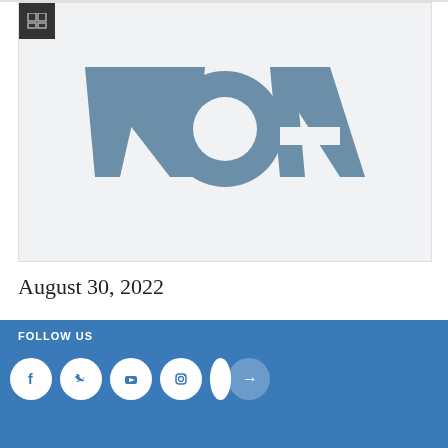[Figure (logo): VOA (Voice of America) logo on a light grey background with a small grid/window icon in the top-left corner]
August 30, 2022
[Figure (infographic): Blue footer bar with FOLLOW US text, social media icons (Facebook, Twitter, YouTube, Instagram), an arrow button, and a white overlay card showing the VOA logo with a document icon and 'NEW SERIES 52 Documenta...' text]